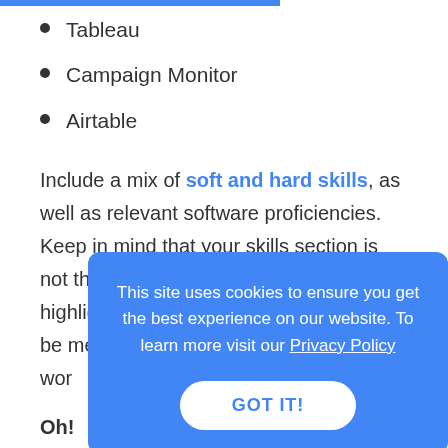Tableau
Campaign Monitor
Airtable
Include a mix of soft and hard skills, as well as relevant software proficiencies. Keep in mind that your skills section is not the only part of your resume that highlights your abilities. They should also be mentioned in your wor[k experience...]
Oh!
One[...]
specialist position, don't list communication as one of
This site uses cookies to ensure you get the best experience on our website. To learn more visit our Privacy Policy
GOT IT!